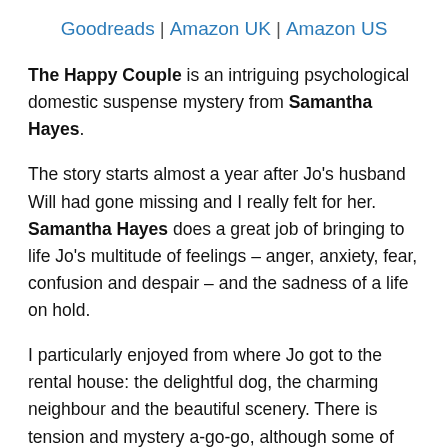Goodreads | Amazon UK | Amazon US
The Happy Couple is an intriguing psychological domestic suspense mystery from Samantha Hayes.
The story starts almost a year after Jo's husband Will had gone missing and I really felt for her. Samantha Hayes does a great job of bringing to life Jo's multitude of feelings – anger, anxiety, fear, confusion and despair – and the sadness of a life on hold.
I particularly enjoyed from where Jo got to the rental house: the delightful dog, the charming neighbour and the beautiful scenery. There is tension and mystery a-go-go, although some of Jo's thoughts could be a bit repetitive and I was frustrated by some of her actions – or rather some of her inaction. However, I absolutely did want to